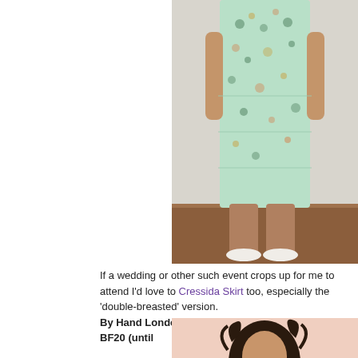[Figure (photo): Woman wearing a mint green floral dress, standing in front of a white wall on a wooden floor, wearing white flat shoes. Only torso and legs visible.]
If a wedding or other such event crops up for me to attend I'd love to Cressida Skirt too, especially the 'double-breasted' version.
By Hand London - 20% off all patterns with the code BF20 (until
[Figure (photo): Partial view of a person with curly dark hair against a light peach background.]